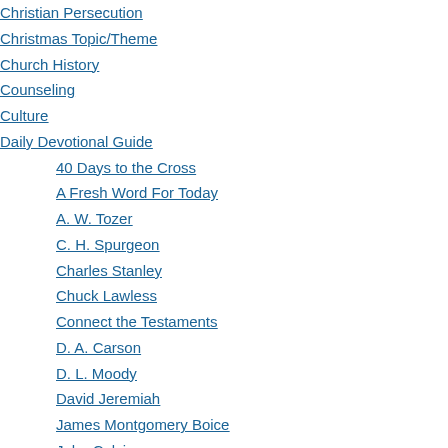Christian Persecution
Christmas Topic/Theme
Church History
Counseling
Culture
Daily Devotional Guide
40 Days to the Cross
A Fresh Word For Today
A. W. Tozer
C. H. Spurgeon
Charles Stanley
Chuck Lawless
Connect the Testaments
D. A. Carson
D. L. Moody
David Jeremiah
James Montgomery Boice
John Calvin
John MacArthur